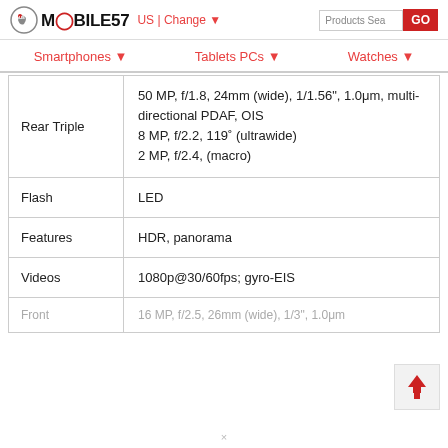MOBILE57 US | Change ▼
| Feature | Details |
| --- | --- |
| Rear Triple | 50 MP, f/1.8, 24mm (wide), 1/1.56", 1.0μm, multi-directional PDAF, OIS
8 MP, f/2.2, 119˚ (ultrawide)
2 MP, f/2.4, (macro) |
| Flash | LED |
| Features | HDR, panorama |
| Videos | 1080p@30/60fps; gyro-EIS |
| Front | 16 MP, f/2.5, 26mm (wide), 1/3", 1.0μm… |